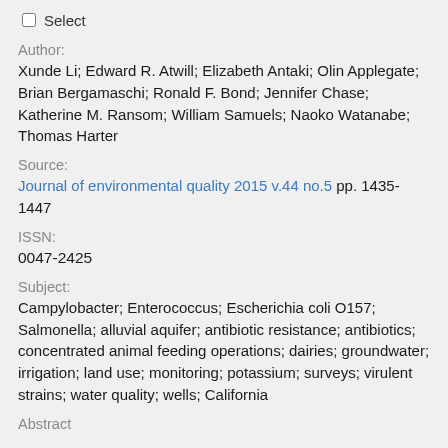☐ Select
Author:
Xunde Li; Edward R. Atwill; Elizabeth Antaki; Olin Applegate; Brian Bergamaschi; Ronald F. Bond; Jennifer Chase; Katherine M. Ransom; William Samuels; Naoko Watanabe; Thomas Harter
Source:
Journal of environmental quality 2015 v.44 no.5 pp. 1435-1447
ISSN:
0047-2425
Subject:
Campylobacter; Enterococcus; Escherichia coli O157; Salmonella; alluvial aquifer; antibiotic resistance; antibiotics; concentrated animal feeding operations; dairies; groundwater; irrigation; land use; monitoring; potassium; surveys; virulent strains; water quality; wells; California
Abstract